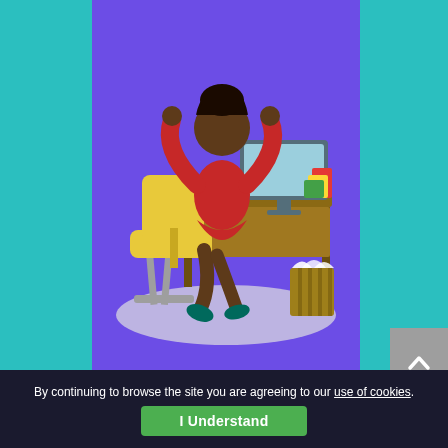[Figure (illustration): Illustration of a person in a red outfit sitting at a desk with a computer, on a purple background, with a yellow chair and a waste bin nearby.]
Try Personal Edition for Free.
Sync your GAL or Public Folder to Office 365 contacts in under two minutes. No credit card needed.
By continuing to browse the site you are agreeing to our use of cookies.
I Understand